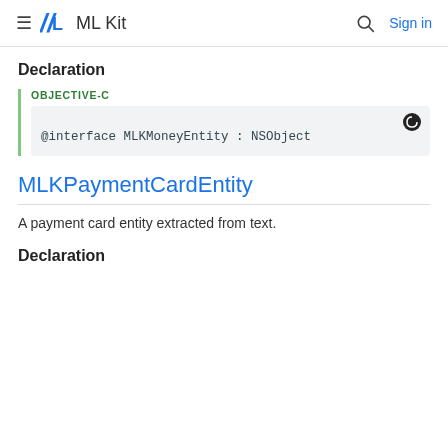ML Kit — Sign in
Declaration
OBJECTIVE-C
@interface MLKMoneyEntity : NSObject
MLKPaymentCardEntity
A payment card entity extracted from text.
Declaration